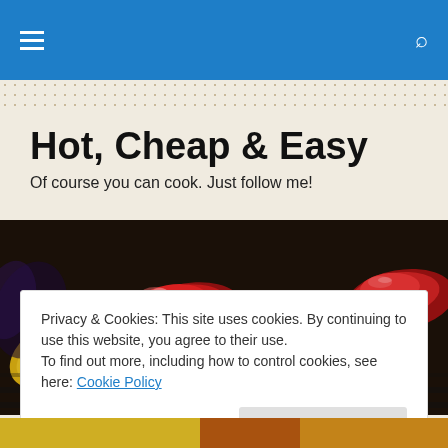Hot, Cheap & Easy — navigation bar
Hot, Cheap & Easy
Of course you can cook. Just follow me!
[Figure (photo): Close-up photo of roasted/grilled colourful peppers (red, yellow, orange) on a dark grill surface]
Privacy & Cookies: This site uses cookies. By continuing to use this website, you agree to their use.
To find out more, including how to control cookies, see here: Cookie Policy
[Close and accept button]